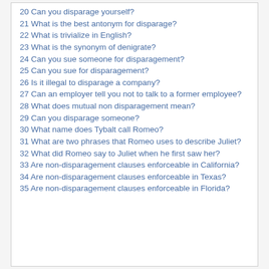20 Can you disparage yourself?
21 What is the best antonym for disparage?
22 What is trivialize in English?
23 What is the synonym of denigrate?
24 Can you sue someone for disparagement?
25 Can you sue for disparagement?
26 Is it illegal to disparage a company?
27 Can an employer tell you not to talk to a former employee?
28 What does mutual non disparagement mean?
29 Can you disparage someone?
30 What name does Tybalt call Romeo?
31 What are two phrases that Romeo uses to describe Juliet?
32 What did Romeo say to Juliet when he first saw her?
33 Are non-disparagement clauses enforceable in California?
34 Are non-disparagement clauses enforceable in Texas?
35 Are non-disparagement clauses enforceable in Florida?